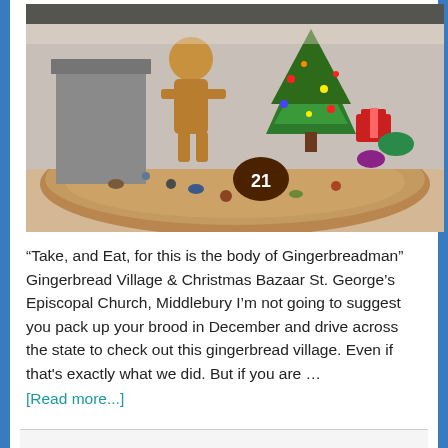[Figure (photo): Photo of a gingerbread village display on a round wooden board, featuring gingerbread figures, a decorated Christmas tree made of green icing, candy decorations, and a gingerbread piece with the number 21 on it.]
“Take, and Eat, for this is the body of Gingerbreadman” Gingerbread Village & Christmas Bazaar St. George’s Episcopal Church, Middlebury I’m not going to suggest you pack up your brood in December and drive across the state to check out this gingerbread village. Even if that’s exactly what we did. But if you are … [Read more...]